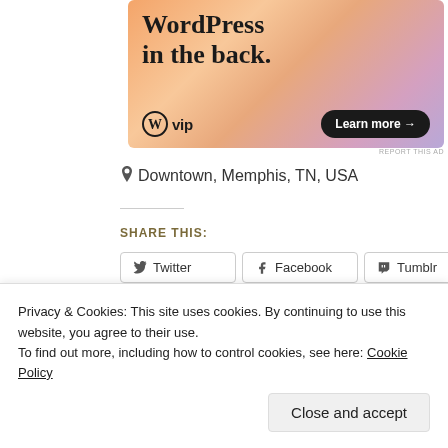[Figure (screenshot): WordPress VIP advertisement banner with text 'WordPress in the back.' and a 'Learn more →' button, with WP VIP logo on an orange/pink gradient background]
Downtown, Memphis, TN, USA
Share This:
Twitter  Facebook  Tumblr  Pocket  Pinterest  Reddit  LinkedIn  Print  Email
Privacy & Cookies: This site uses cookies. By continuing to use this website, you agree to their use.
To find out more, including how to control cookies, see here: Cookie Policy
Close and accept